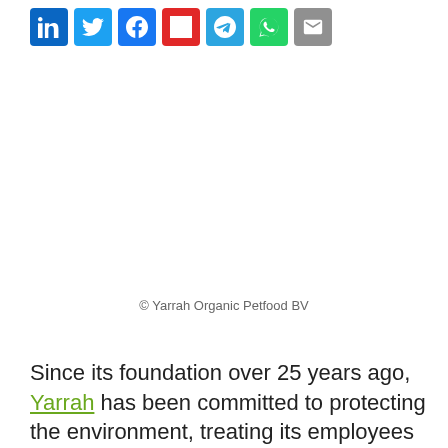[Figure (other): Social media sharing icons row: LinkedIn, Twitter, Facebook, Flipboard, Telegram, WhatsApp, Email]
© Yarrah Organic Petfood BV
Since its foundation over 25 years ago, Yarrah has been committed to protecting the environment, treating its employees well, and responsibly selecting the ingredients used in its dog and cat foods. This commitment has now been recognized